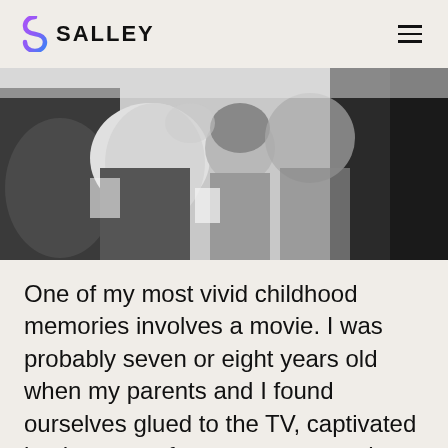SALLEY
[Figure (photo): Black and white photograph of people viewed from behind, sitting or standing together in a group, hair and casual clothing visible]
One of my most vivid childhood memories involves a movie. I was probably seven or eight years old when my parents and I found ourselves glued to the TV, captivated by the story of two young men whose rivalry and vision would come to define the digital revolution. One of them was brash, with long, brown hair and a penetrating gaze that instantly